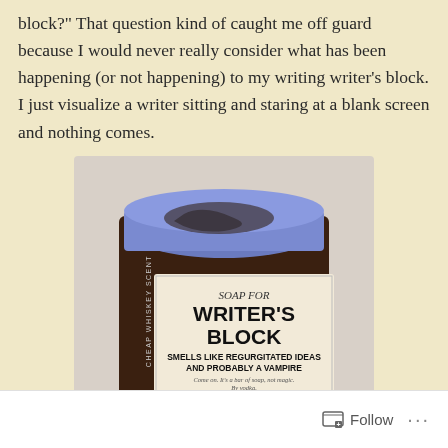block?" That question kind of caught me off guard because I would never really consider what has been happening (or not happening) to my writing writer's block. I just visualize a writer sitting and staring at a blank screen and nothing comes.
[Figure (photo): A bar of handmade soap labeled 'Soap for Writer's Block. Smells like regurgitated ideas and probably a vampire. Come on. It's a bar of soap, not magic. By vodka. Handmade Soap.' The soap is dark brown with a blue top, wrapped in a cream-colored label. Side label reads 'Cheap Whiskey Scent'.]
Follow ...